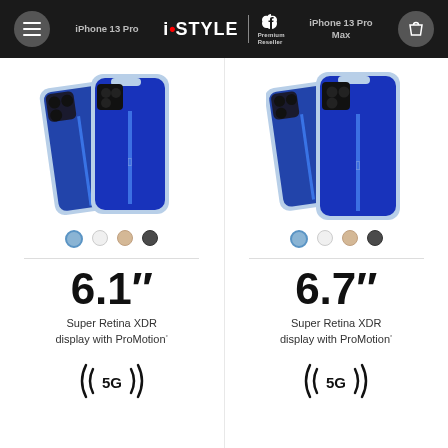iPhone 13 Pro | iSTYLE Premium Reseller | iPhone 13 Pro Max
[Figure (photo): iPhone 13 Pro in Sierra Blue, front and back view]
[Figure (photo): iPhone 13 Pro Max in Sierra Blue, front and back view]
6.1"
Super Retina XDR display with ProMotion°
[Figure (other): 5G logo icon]
6.7"
Super Retina XDR display with ProMotion°
[Figure (other): 5G logo icon]